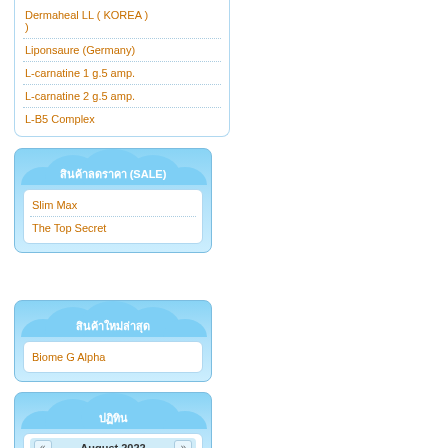Dermaheal LL ( KOREA )
Liponsaure (Germany)
L-carnatine 1 g.5 amp.
L-carnatine 2 g.5 amp.
L-B5 Complex
สินค้าลดราคา (SALE)
Slim Max
The Top Secret
สินค้าใหม่ล่าสุด
Biome G Alpha
ปฏิทิน
August 2022